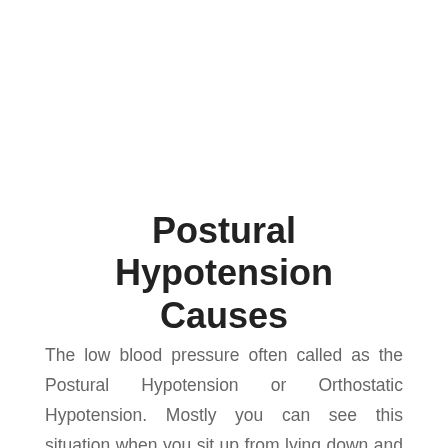Postural Hypotension Causes
The low blood pressure often called as the Postural Hypotension or Orthostatic Hypotension. Mostly you can see this situation when you sit up from lying down and from sitting to standing position. Our body consists of many arteries and veins to carry the blood to various parts. Blood pressure is the one that pushes the blood